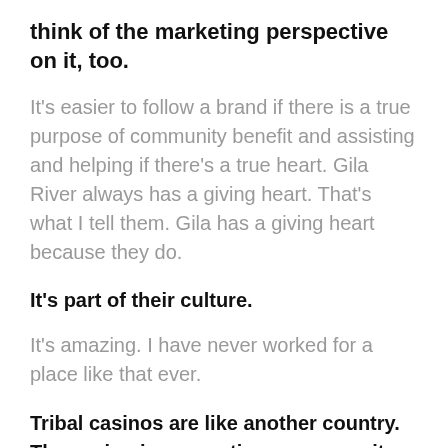think of the marketing perspective on it, too.
It's easier to follow a brand if there is a true purpose of community benefit and assisting and helping if there's a true heart. Gila River always has a giving heart. That's what I tell them. Gila has a giving heart because they do.
It's part of their culture.
It's amazing. I have never worked for a place like that ever.
Tribal casinos are like another country. The casino is supporting a community of people, not only in their community but even people that are outside of it. It's culture, about first of all, giving.